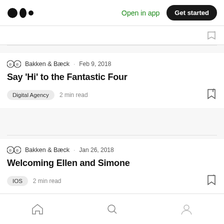Medium logo | Open in app | Get started
Bakken & Bæck · Feb 9, 2018
Say 'Hi' to the Fantastic Four
Digital Agency  2 min read
Bakken & Bæck · Jan 26, 2018
Welcoming Ellen and Simone
IOS  2 min read
Bakken & Bæck · Jan 20, 2018
Home | Search | Profile